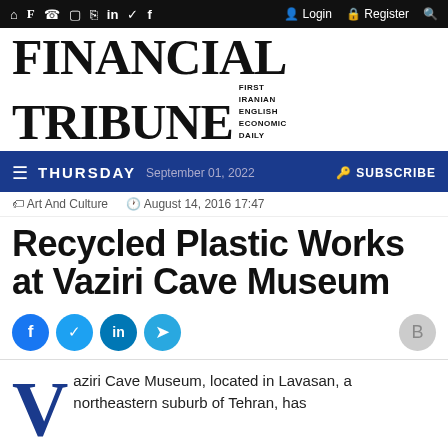Financial Tribune — THURSDAY September 01, 2022 — SUBSCRIBE
FINANCIAL TRIBUNE — FIRST IRANIAN ENGLISH ECONOMIC DAILY
Art And Culture — August 14, 2016 17:47
Recycled Plastic Works at Vaziri Cave Museum
Vaziri Cave Museum, located in Lavasan, a northeastern suburb of Tehran, has